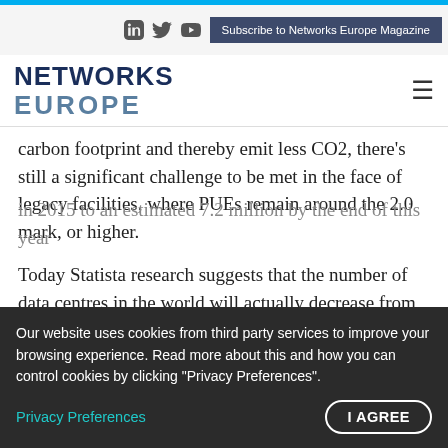Subscribe to Networks Europe Magazine
NETWORKS EUROPE
carbon footprint and thereby emit less CO2, there's still a significant challenge to be met in the face of legacy facilities, where PUEs remain around the 2.0 mark, or higher.
Today Statista research suggests that the number of data centres in the world will actually decrease from 8.5 million
in 2015 to an estimated 7.2 million by the end of this year
Our website uses cookies from third party services to improve your browsing experience. Read more about this and how you can control cookies by clicking "Privacy Preferences".
Privacy Preferences
I AGREE